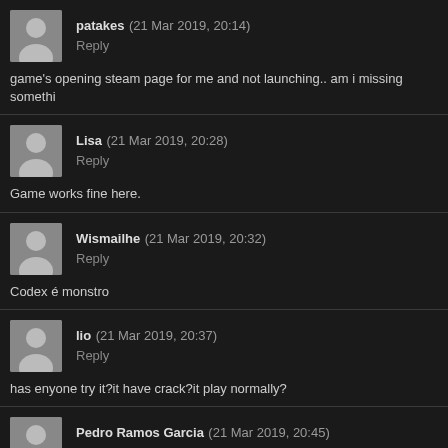patakes (21 Mar 2019, 20:14) Reply
game's opening steam page for me and not launching.. am i missing somethi
Lisa (21 Mar 2019, 20:28) Reply
Game works fine here.
Wismailhe (21 Mar 2019, 20:32) Reply
Codex é monstro
lio (21 Mar 2019, 20:37) Reply
has enyone try it?it have crack?it play normally?
Pedro Ramos Garcia (21 Mar 2019, 20:45)